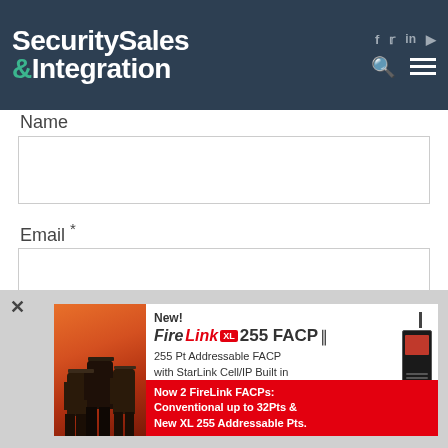Security Sales & Integration
Name
Email *
Website
[Figure (infographic): Advertisement for FireLink XL 255 FACP - 255 Pt Addressable FACP with StarLink Cell/IP Built in. Now 2 FireLink FACPs: Conventional up to 32Pts & New XL 255 Addressable Pts. Shows firefighters image on left and fire alarm control panel device on right.]